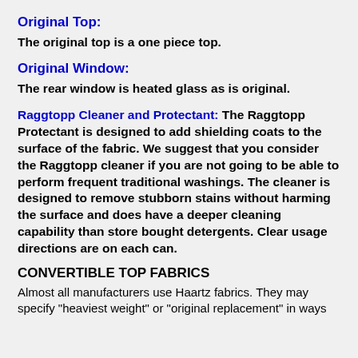Original Top:
The original top is a one piece top.
Original Window:
The rear window is heated glass as is original.
Raggtopp Cleaner and Protectant: The Raggtopp Protectant is designed to add shielding coats to the surface of the fabric. We suggest that you consider the Raggtopp cleaner if you are not going to be able to perform frequent traditional washings. The cleaner is designed to remove stubborn stains without harming the surface and does have a deeper cleaning capability than store bought detergents. Clear usage directions are on each can.
CONVERTIBLE TOP FABRICS
Almost all manufacturers use Haartz fabrics. They may specify "heaviest weight" or "original replacement" in ways